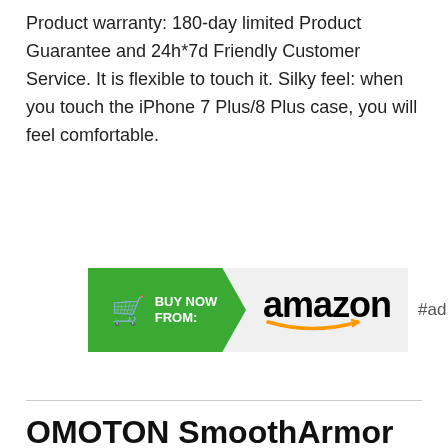Product warranty: 180-day limited Product Guarantee and 24h*7d Friendly Customer Service. It is flexible to touch it. Silky feel: when you touch the iPhone 7 Plus/8 Plus case, you will feel comfortable.
[Figure (infographic): Amazon Buy Now button banner with green arrow shape containing cart icon and 'BUY NOW FROM:' text, followed by Amazon logo on light grey background, with '#ad' label to the right]
OMOTON SmoothArmor 9H Hardness HD Tempered